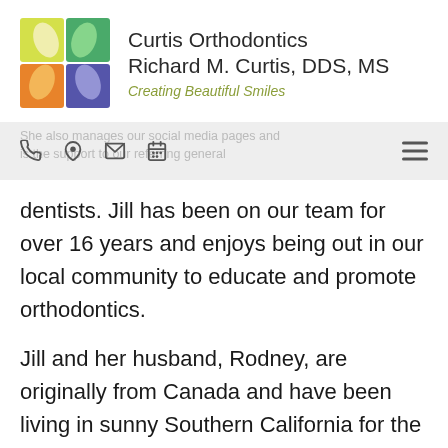[Figure (logo): Curtis Orthodontics logo: four colored quadrants (yellow-green top-left, green top-right, orange bottom-left, purple bottom-right) with leaf/petal shapes]
Curtis Orthodontics
Richard M. Curtis, DDS, MS
Creating Beautiful Smiles
She also manages our social media pages and is the support to our referring general
dentists. Jill has been on our team for over 16 years and enjoys being out in our local community to educate and promote orthodontics.
Jill and her husband, Rodney, are originally from Canada and have been living in sunny Southern California for the past 18 years